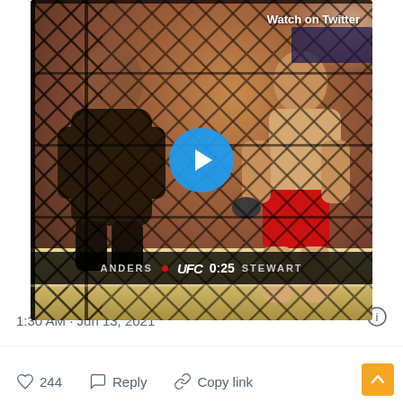[Figure (screenshot): Twitter embedded video thumbnail showing a UFC fight between Anders and Stewart inside an octagon cage. A blue play button is centered on the image. A scoreboard at the bottom reads: ANDERS | UFC 0:25 | STEWART. A 'Watch on Twitter' label appears in the top-right corner.]
1:30 AM · Jun 13, 2021
244   Reply   Copy link